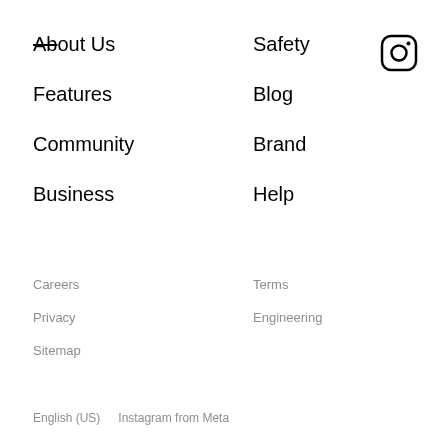About Us
Safety
[Figure (logo): Instagram camera icon logo in black outline]
Features
Blog
Community
Brand
Business
Help
Careers
Terms
Privacy
Engineering
Sitemap
English (US)   Instagram from Meta